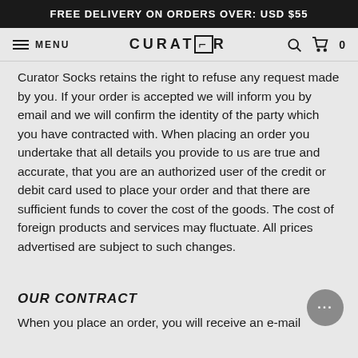FREE DELIVERY ON ORDERS OVER: USD $55
MENU  CURATOR  0
Curator Socks retains the right to refuse any request made by you. If your order is accepted we will inform you by email and we will confirm the identity of the party which you have contracted with. When placing an order you undertake that all details you provide to us are true and accurate, that you are an authorized user of the credit or debit card used to place your order and that there are sufficient funds to cover the cost of the goods. The cost of foreign products and services may fluctuate. All prices advertised are subject to such changes.
OUR CONTRACT
When you place an order, you will receive an e-mail